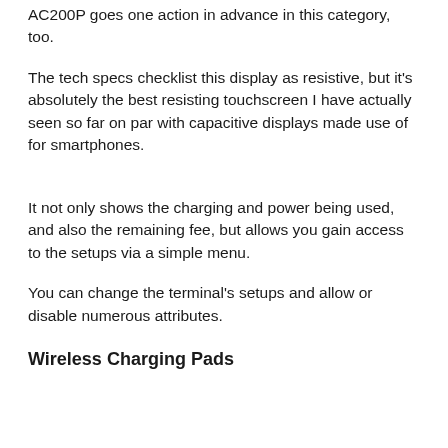AC200P goes one action in advance in this category, too.
The tech specs checklist this display as resistive, but it's absolutely the best resisting touchscreen I have actually seen so far on par with capacitive displays made use of for smartphones.
It not only shows the charging and power being used, and also the remaining fee, but allows you gain access to the setups via a simple menu.
You can change the terminal's setups and allow or disable numerous attributes.
Wireless Charging Pads